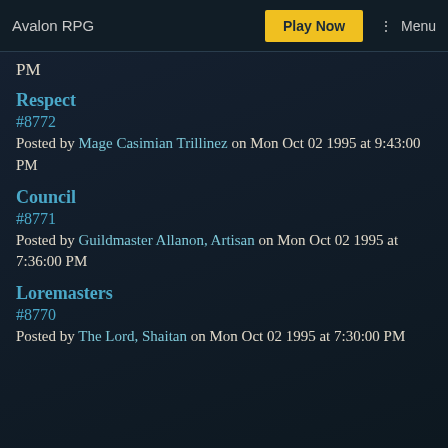Avalon RPG | Play Now | Menu
PM
Respect
#8772
Posted by Mage Casimian Trillinez on Mon Oct 02 1995 at 9:43:00 PM
Council
#8771
Posted by Guildmaster Allanon, Artisan on Mon Oct 02 1995 at 7:36:00 PM
Loremasters
#8770
Posted by The Lord, Shaitan on Mon Oct 02 1995 at 7:30:00 PM